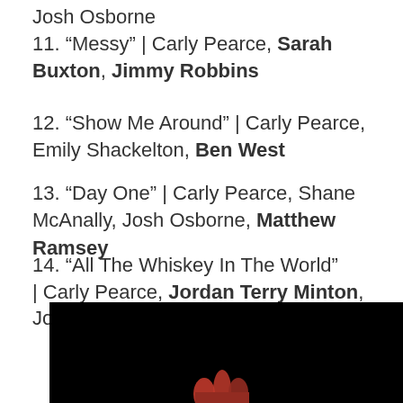Josh Osborne
11. “Messy” | Carly Pearce, Sarah Buxton, Jimmy Robbins
12. “Show Me Around” | Carly Pearce, Emily Shackelton, Ben West
13. “Day One” | Carly Pearce, Shane McAnally, Josh Osborne, Matthew Ramsey
14. “All The Whiskey In The World” | Carly Pearce, Jordan Terry Minton, Jordan Reynolds, Emily Shackelton
15. “Mean It This Time” | Carly Pearce, Jordan Terry Minton, Jordan Reynolds, Emily Shackelton
[Figure (photo): Dark background image showing hands, appearing to be a music-related photo]